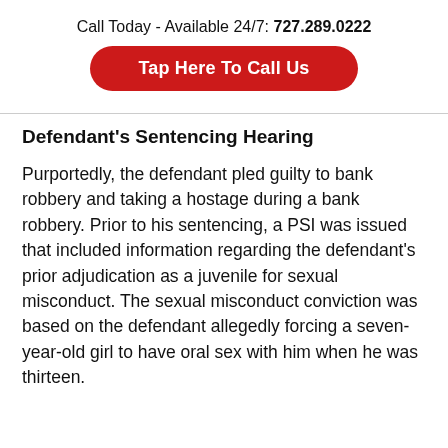Call Today - Available 24/7: 727.289.0222
[Figure (other): Red rounded button with white text reading 'Tap Here To Call Us']
Defendant's Sentencing Hearing
Purportedly, the defendant pled guilty to bank robbery and taking a hostage during a bank robbery. Prior to his sentencing, a PSI was issued that included information regarding the defendant's prior adjudication as a juvenile for sexual misconduct. The sexual misconduct conviction was based on the defendant allegedly forcing a seven-year-old girl to have oral sex with him when he was thirteen.